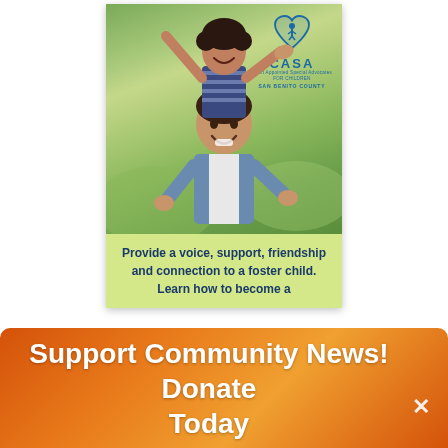[Figure (photo): CASA (Court Appointed Special Advocates for Children) San Benito County promotional card showing a smiling adult man with a child on his shoulders, set against a green outdoor background. The CASA logo appears in the upper right of the card.]
Provide a voice, support, friendship and connection to a foster child. Learn how to become a
Support Community News! Donate Today